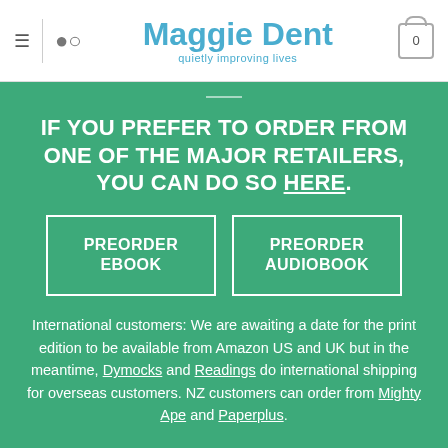Maggie Dent — quietly improving lives
IF YOU PREFER TO ORDER FROM ONE OF THE MAJOR RETAILERS, YOU CAN DO SO HERE.
PREORDER EBOOK
PREORDER AUDIOBOOK
International customers: We are awaiting a date for the print edition to be available from Amazon US and UK but in the meantime, Dymocks and Readings do international shipping for overseas customers. NZ customers can order from Mighty Ape and Paperplus.